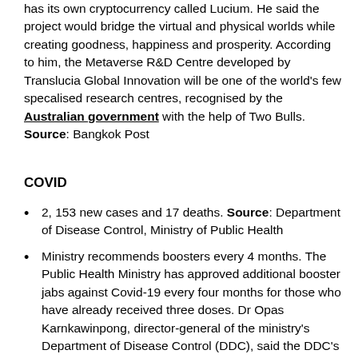has its own cryptocurrency called Lucium. He said the project would bridge the virtual and physical worlds while creating goodness, happiness and prosperity. According to him, the Metaverse R&D Centre developed by Translucia Global Innovation will be one of the world's few specalised research centres, recognised by the Australian government with the help of Two Bulls. Source: Bangkok Post
COVID
2, 153 new cases and 17 deaths. Source: Department of Disease Control, Ministry of Public Health
Ministry recommends boosters every 4 months. The Public Health Ministry has approved additional booster jabs against Covid-19 every four months for those who have already received three doses. Dr Opas Karnkawinpong, director-general of the ministry's Department of Disease Control (DDC), said the DDC's